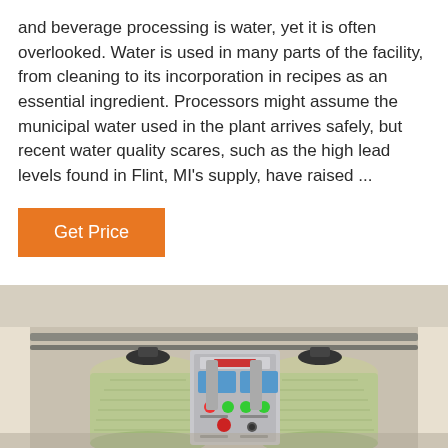and beverage processing is water, yet it is often overlooked. Water is used in many parts of the facility, from cleaning to its incorporation in recipes as an essential ingredient. Processors might assume the municipal water used in the plant arrives safely, but recent water quality scares, such as the high lead levels found in Flint, MI's supply, have raised ...
Get Price
[Figure (photo): Industrial water treatment/filtration system with two large cylindrical filter tanks (light green/beige), a central control panel with displays and buttons, and overhead piping, photographed indoors.]